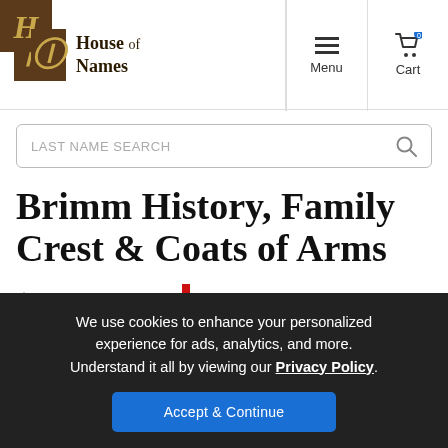House of Names — Menu / Cart navigation header
LAST NAME SEARCH
Brimm History, Family Crest & Coats of Arms
Origins Available: England
We use cookies to enhance your personalized experience for ads, analytics, and more. Understand it all by viewing our Privacy Policy.
Accept & Continue